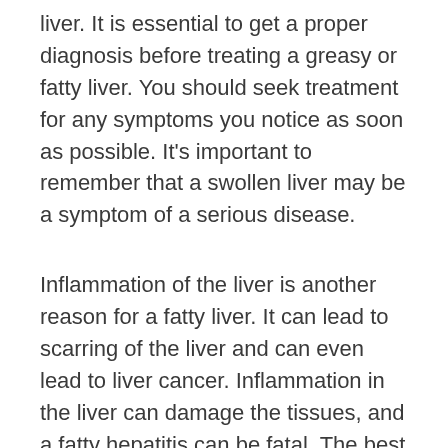liver. It is essential to get a proper diagnosis before treating a greasy or fatty liver. You should seek treatment for any symptoms you notice as soon as possible. It's important to remember that a swollen liver may be a symptom of a serious disease.
Inflammation of the liver is another reason for a fatty liver. It can lead to scarring of the liver and can even lead to liver cancer. Inflammation in the liver can damage the tissues, and a fatty hepatitis can be fatal. The best way to treat a fatty hepatitis is to eat a healthy diet and avoid using processed foods. If you're still not feeling well, contact a doctor right away to ensure you're getting the proper diagnosis.